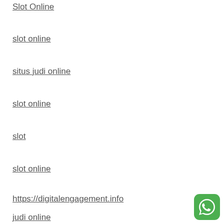Slot Online
slot online
situs judi online
slot online
slot
slot online
https://digitalengagement.info
judi online
[Figure (logo): WhatsApp green logo icon in bottom right corner]